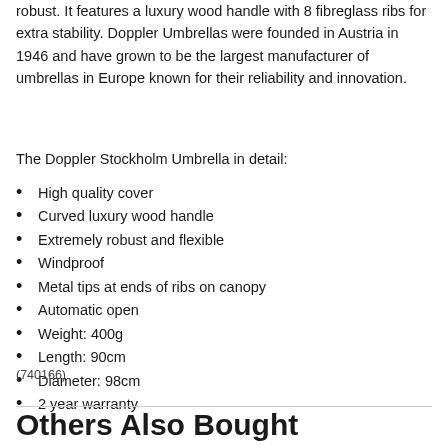robust.  It features a luxury wood handle with 8 fibreglass ribs for extra stability.  Doppler Umbrellas were founded in Austria in 1946 and have grown to be the largest manufacturer of umbrellas in Europe known for their reliability and innovation.
The Doppler Stockholm Umbrella in detail:
High quality cover
Curved luxury wood handle
Extremely robust and flexible
Windproof
Metal tips at ends of ribs on canopy
Automatic open
Weight: 400g
Length: 90cm
Diameter: 98cm
2 year warranty
(740166)
Others Also Bought